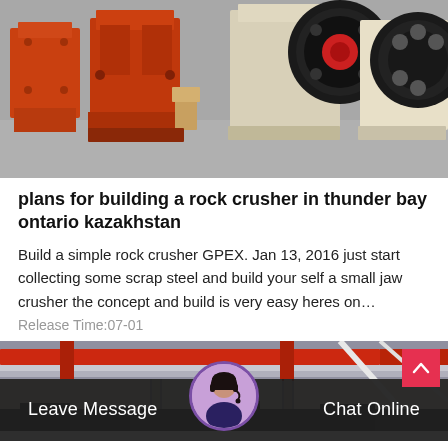[Figure (photo): Industrial jaw crushers lined up in a factory yard — orange and cream-colored heavy machinery with large flywheels]
plans for building a rock crusher in thunder bay ontario kazakhstan
Build a simple rock crusher GPEX. Jan 13, 2016 just start collecting some scrap steel and build your self a small jaw crusher the concept and build is very easy heres on…
Release Time:07-01
[Figure (photo): Industrial facility with red overhead crane and warehouse structure, bottom section of page]
Leave Message   Chat Online